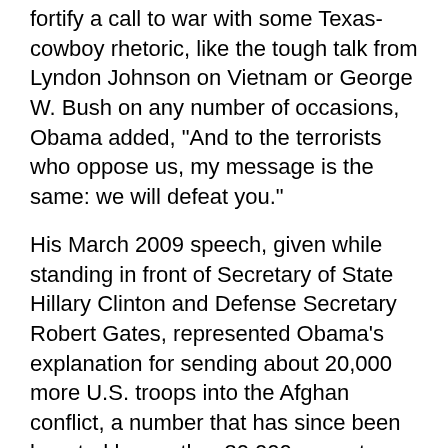fortify a call to war with some Texas-cowboy rhetoric, like the tough talk from Lyndon Johnson on Vietnam or George W. Bush on any number of occasions, Obama added, "And to the terrorists who oppose us, my message is the same: we will defeat you."
His March 2009 speech, given while standing in front of Secretary of State Hillary Clinton and Defense Secretary Robert Gates, represented Obama's explanation for sending about 20,000 more U.S. troops into the Afghan conflict, a number that has since been boosted by another 30,000 or so, to around 100,000 total.
Despite all the claims about clarity, all that was clear to me was that in choosing to escalate the war, Obama may have sealed his political doom -- not to mention sealing a more violent fate for hundreds of occupiers and thousands of indigenous.
Even if there had been some wise grown-